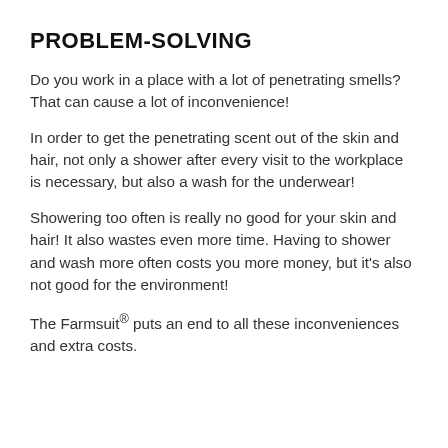PROBLEM-SOLVING
Do you work in a place with a lot of penetrating smells? That can cause a lot of inconvenience!
In order to get the penetrating scent out of the skin and hair, not only a shower after every visit to the workplace is necessary, but also a wash for the underwear!
Showering too often is really no good for your skin and hair! It also wastes even more time. Having to shower and wash more often costs you more money, but it's also not good for the environment!
The Farmsuit® puts an end to all these inconveniences and extra costs.